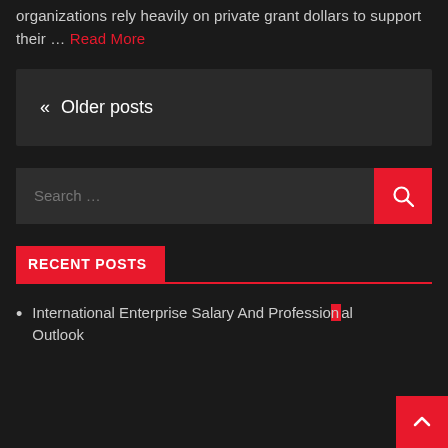organizations rely heavily on private grant dollars to support their … Read More
« Older posts
Search …
RECENT POSTS
International Enterprise Salary And Professional Outlook